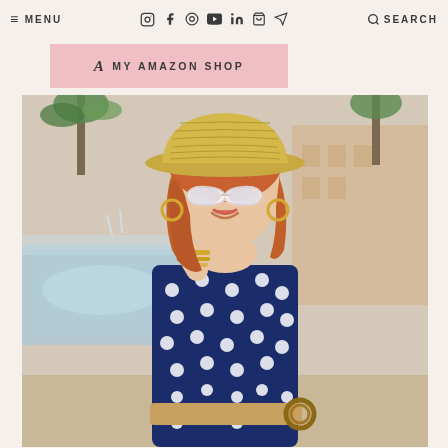≡ MENU  [social icons]  🔍 SEARCH
a MY AMAZON SHOP
[Figure (photo): A woman with red/auburn hair wearing a straw sun hat, white cat-eye sunglasses which she is holding with one hand, a navy blue and white polka dot halter dress, gold bracelets, and a woven straw belt with a round wooden buckle. She is smiling and posing outdoors by a pool or fountain area with palm trees and a building in the background.]